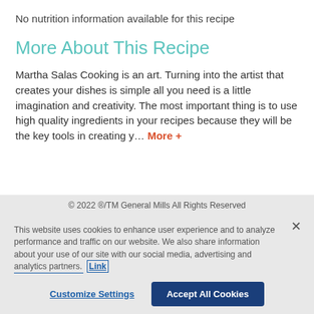No nutrition information available for this recipe
More About This Recipe
Martha Salas Cooking is an art. Turning into the artist that creates your dishes is simple all you need is a little imagination and creativity. The most important thing is to use high quality ingredients in your recipes because they will be the key tools in creating y… More +
© 2022 ®/TM General Mills All Rights Reserved
This website uses cookies to enhance user experience and to analyze performance and traffic on our website. We also share information about your use of our site with our social media, advertising and analytics partners. Link to Cookie Policy
Customize Settings   Accept All Cookies